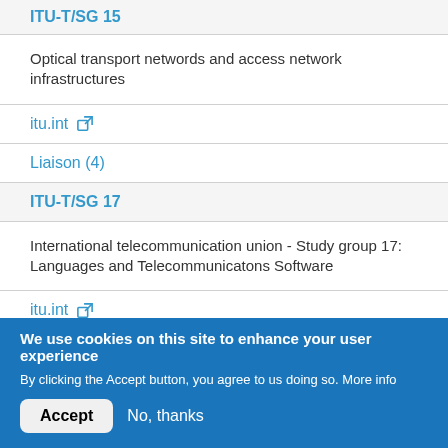ITU-T/SG 15
Optical transport networds and access network infrastructures
itu.int ↗
Liaison (4)
ITU-T/SG 17
International telecommunication union - Study group 17: Languages and Telecommunicatons Software
itu.int ↗
Liaison (3)
We use cookies on this site to enhance your user experience
By clicking the Accept button, you agree to us doing so. More info
Accept
No, thanks